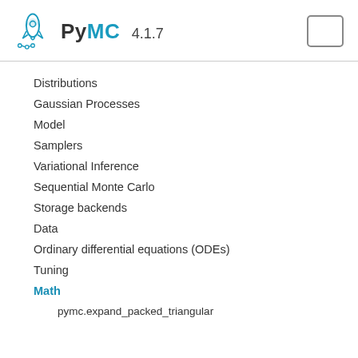PyMC 4.1.7
Distributions
Gaussian Processes
Model
Samplers
Variational Inference
Sequential Monte Carlo
Storage backends
Data
Ordinary differential equations (ODEs)
Tuning
Math
pymc.expand_packed_triangular